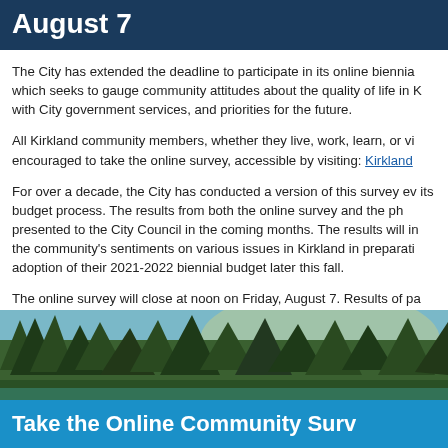August 7
The City has extended the deadline to participate in its online biennia which seeks to gauge community attitudes about the quality of life in K with City government services, and priorities for the future.
All Kirkland community members, whether they live, work, learn, or vi encouraged to take the online survey, accessible by visiting: Kirkland
For over a decade, the City has conducted a version of this survey ev its budget process. The results from both the online survey and the ph presented to the City Council in the coming months. The results will in the community's sentiments on various issues in Kirkland in preparati adoption of their 2021-2022 biennial budget later this fall.
The online survey will close at noon on Friday, August 7. Results of pa found on the City's website.
[Figure (photo): Outdoor scene with trees and greenery at dusk/dawn with a blue tinted sky, with a blue banner overlay reading 'Take the Online Community Surv']